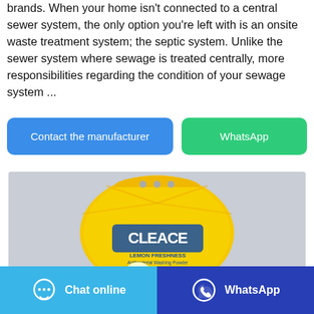brands. When your home isn't connected to a central sewer system, the only option you're left with is an onsite waste treatment system; the septic system. Unlike the sewer system where sewage is treated centrally, more responsibilities regarding the condition of your sewage system ...
[Figure (other): Blue button labeled 'Contact the manufacturer' and green button labeled 'WhatsApp']
[Figure (photo): Product photo of a yellow bag of Cleace Lemon Freshness Antibacterial Washing Powder on a grey background]
[Figure (other): Footer bar with two buttons: light blue 'Chat online' button with chat icon on the left, and dark blue 'WhatsApp' button with WhatsApp icon on the right]